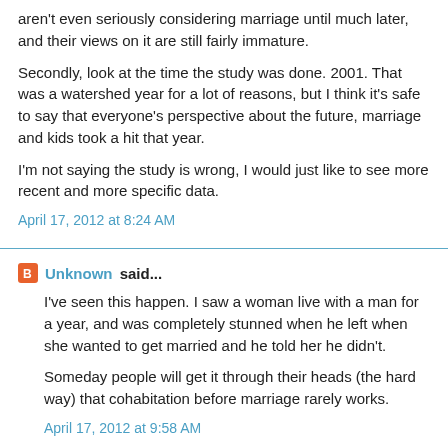aren't even seriously considering marriage until much later, and their views on it are still fairly immature.
Secondly, look at the time the study was done. 2001. That was a watershed year for a lot of reasons, but I think it's safe to say that everyone's perspective about the future, marriage and kids took a hit that year.
I'm not saying the study is wrong, I would just like to see more recent and more specific data.
April 17, 2012 at 8:24 AM
Unknown said...
I've seen this happen. I saw a woman live with a man for a year, and was completely stunned when he left when she wanted to get married and he told her he didn't.
Someday people will get it through their heads (the hard way) that cohabitation before marriage rarely works.
April 17, 2012 at 9:58 AM